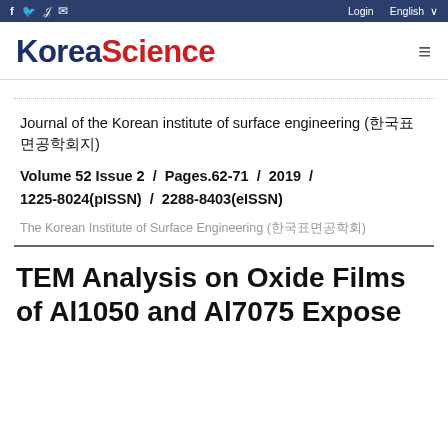KoreaScience | Login | English
Journal of the Korean institute of surface engineering (한국표면공학회지)
Volume 52 Issue 2  /  Pages.62-71  /  2019  /  1225-8024(pISSN)  /  2288-8403(eISSN)
The Korean Institute of Surface Engineering (한국표면공학회)
TEM Analysis on Oxide Films of Al1050 and Al7075 Expose